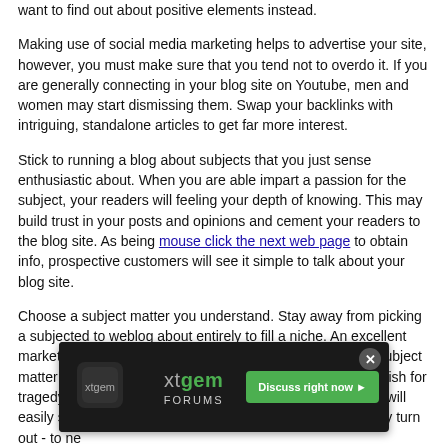want to find out about positive elements instead.
Making use of social media marketing helps to advertise your site, however, you must make sure that you tend not to overdo it. If you are generally connecting in your blog site on Youtube, men and women may start dismissing them. Swap your backlinks with intriguing, standalone articles to get far more interest.
Stick to running a blog about subjects that you just sense enthusiastic about. When you are able impart a passion for the subject, your readers will feeling your depth of knowing. This may build trust in your posts and opinions and cement your readers to the blog site. As being mouse click the next web page to obtain info, prospective customers will see it simple to talk about your blog site.
Choose a subject matter you understand. Stay away from picking a subjected to weblog about entirely to fill a niche. An excellent market is important even so trying to noise educated on a subject matter you understand absolutely nothing about is really a dish for tragedy. Readers, who typically know anything about them, will easily see via your attempts to sound like an power and may turn out - to ne...
[Figure (infographic): xtgem FORUMS ad banner with close button (x), logo icon, title 'xtgem FORUMS' and green 'Discuss right now' button]
As previou... regard to a particular subject matter and varying articles may go alongside...